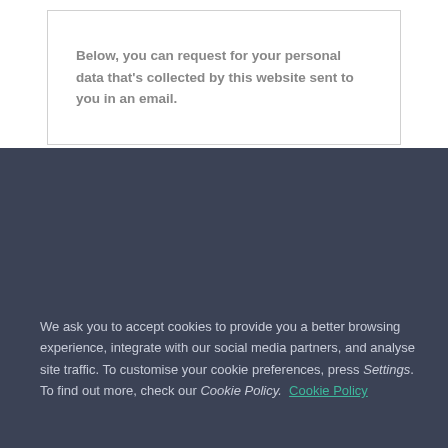Below, you can request for your personal data that's collected by this website sent to you in an email.
We ask you to accept cookies to provide you a better browsing experience, integrate with our social media partners, and analyse site traffic. To customise your cookie preferences, press Settings. To find out more, check our Cookie Policy.  Cookie Policy
Accept
Settings